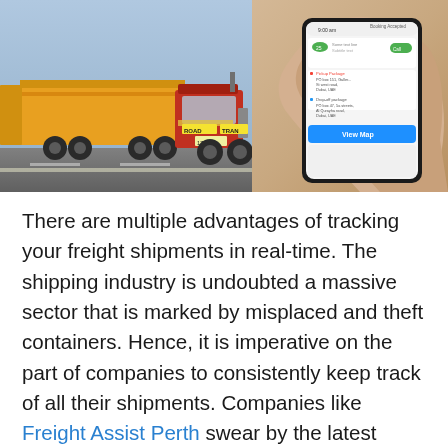[Figure (photo): Left half shows a large road train truck (red/yellow with 'ROAD TRAN' visible on the cab) on a highway. Right half shows a hand holding a smartphone displaying a freight tracking/booking app with booking details, pickup and drop-off package addresses, and a 'View Map' button.]
There are multiple advantages of tracking your freight shipments in real-time. The shipping industry is undoubted a massive sector that is marked by misplaced and theft containers. Hence, it is imperative on the part of companies to consistently keep track of all their shipments. Companies like Freight Assist Perth swear by the latest ground-breaking developments that have taken place in GPS technology. They believe this technology will facilitate the production of low-energy consumption and cost-